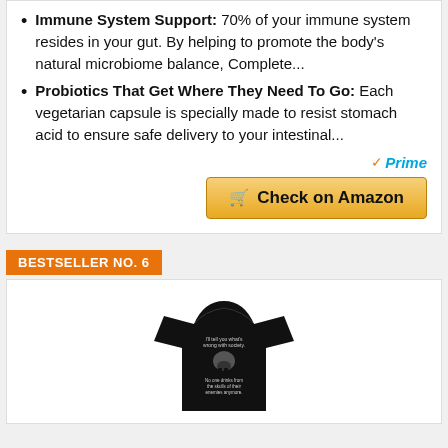Immune System Support: 70% of your immune system resides in your gut. By helping to promote the body's natural microbiome balance, Complete...
Probiotics That Get Where They Need To Go: Each vegetarian capsule is specially made to resist stomach acid to ensure safe delivery to your intestinal...
[Figure (logo): Amazon Prime badge with orange checkmark and blue Prime text]
[Figure (other): Check on Amazon button with shopping cart icon, orange/yellow gradient background]
BESTSELLER NO. 6
[Figure (photo): Black t-shirt with skull graphic and text reading: I'll tell you what's wrong with society. No one drinks from the skulls of their enemies anymore.]